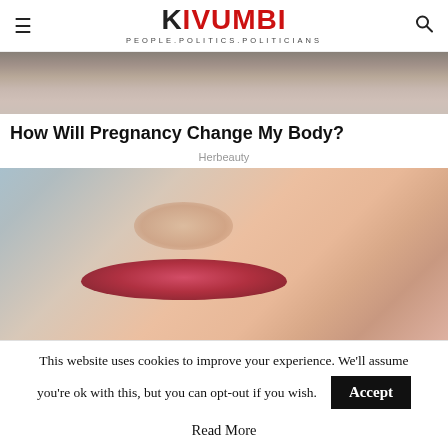KIVUMBI PEOPLE.POLITICS.POLITICIANS
[Figure (photo): Top portion of a person's head/hair, cropped image at top of article]
How Will Pregnancy Change My Body?
Herbeauty
[Figure (photo): Close-up photo of a woman's face showing nose, lips, and skin with slight acne]
This website uses cookies to improve your experience. We'll assume you're ok with this, but you can opt-out if you wish.
Accept
Read More